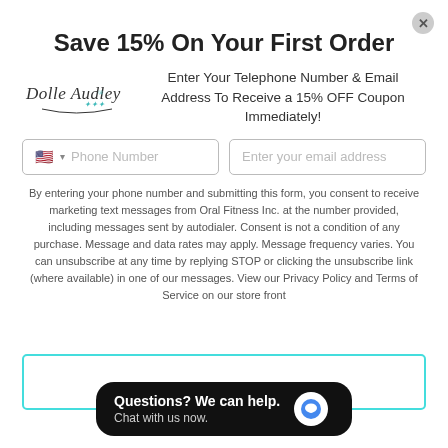Save 15% On Your First Order
[Figure (logo): Dolle Audley brand logo in script font]
Enter Your Telephone Number & Email Address To Receive a 15% OFF Coupon Immediately!
Phone Number input field with US flag and country code selector
Enter your email address input field
By entering your phone number and submitting this form, you consent to receive marketing text messages from Oral Fitness Inc. at the number provided, including messages sent by autodialer. Consent is not a condition of any purchase. Message and data rates may apply. Message frequency varies. You can unsubscribe at any time by replying STOP or clicking the unsubscribe link (where available) in one of our messages. View our Privacy Policy and Terms of Service on our store front
[Figure (screenshot): Chat widget bubble: Questions? We can help. Chat with us now.]